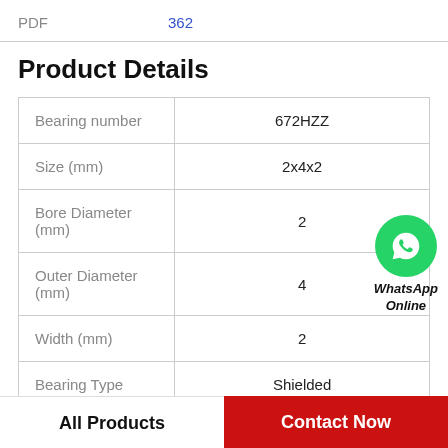PDF   362
Product Details
|  |  |
| --- | --- |
| Bearing number | 672HZZ |
| Size (mm) | 2x4x2 |
| Bore Diameter (mm) | 2 |
| Outer Diameter (mm) | 4 |
| Width (mm) | 2 |
| Bearing Type | Shielded |
[Figure (logo): WhatsApp Online icon with green circle phone logo and italic text 'WhatsApp Online']
All Products   Contact Now